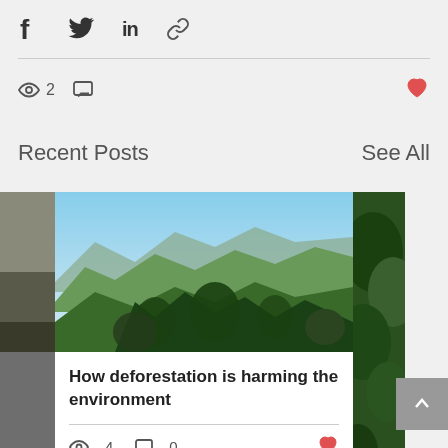[Figure (other): Social share icons: Facebook (f), Twitter (bird), LinkedIn (in), Link icon]
2 (views) and comment icon
Recent Posts
See All
[Figure (photo): Partial card on left with dark image]
[Figure (photo): Center card with mountain landscape photo and text: How deforestation is harming the environment, 4 views, 0 comments]
[Figure (photo): Partial card on right with green foliage]